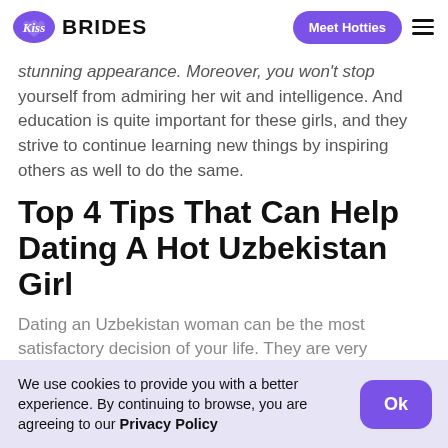Kiss Brides | Meet Hotties
stunning appearance. Moreover, you won't stop yourself from admiring her wit and intelligence. And education is quite important for these girls, and they strive to continue learning new things by inspiring others as well to do the same.
Top 4 Tips That Can Help Dating A Hot Uzbekistan Girl
Dating an Uzbekistan woman can be the most satisfactory decision of your life. They are very
We use cookies to provide you with a better experience. By continuing to browse, you are agreeing to our Privacy Policy